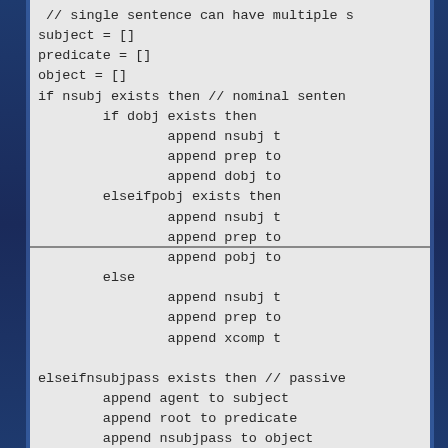// single sentence can have multiple s
subject = []
predicate = []
object = []
if nsubj exists then // nominal senten
        if dobj exists then
                append nsubj t
                append prep to
                append dobj to
        elseifpobj exists then
                append nsubj t
                append prep to
                append pobj to
        else
                append nsubj t
                append prep to
                append xcomp t

elseifnsubjpass exists then // passive
        append agent to subject
        append root to predicate
        append nsubjpass to object